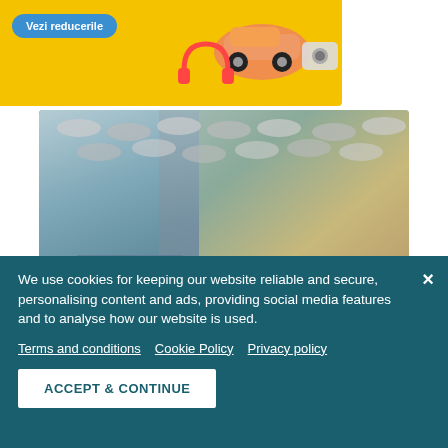[Figure (illustration): Yellow promotional banner with 'Vezi reducerile' blue button and colorful product icons (car, headphones, camera) on yellow background]
[Figure (photo): Open brochure showing modern flexible office spaces with text overlays: 'Discover', 'the new myhive', 'flexible offices']
We use cookies for keeping our website reliable and secure, personalising content and ads, providing social media features and to analyse how our website is used.
Terms and conditions
Cookie Policy
Privacy policy
ACCEPT & CONTINUE